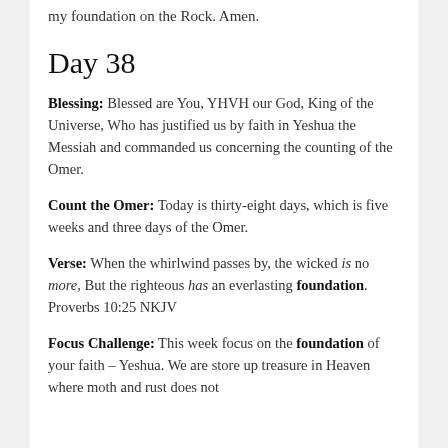my foundation on the Rock. Amen.
Day 38
Blessing: Blessed are You, YHVH our God, King of the Universe, Who has justified us by faith in Yeshua the Messiah and commanded us concerning the counting of the Omer.
Count the Omer: Today is thirty-eight days, which is five weeks and three days of the Omer.
Verse: When the whirlwind passes by, the wicked is no more, But the righteous has an everlasting foundation. Proverbs 10:25 NKJV
Focus Challenge: This week focus on the foundation of your faith – Yeshua. We are store up treasure in Heaven where moth and rust does not